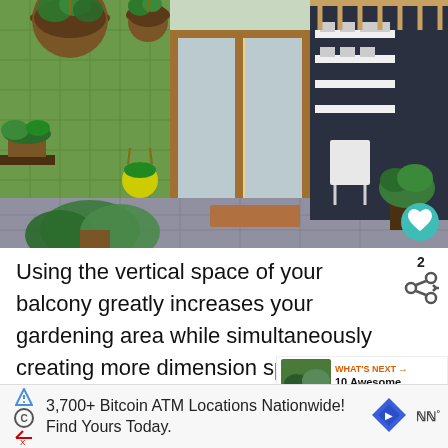[Figure (photo): Outdoor balcony/patio space with vertical green wall planters, hanging basket plants on left, white chair in background, dark accent wall with mounted planters, wooden pergola roof, and potted plants along the sides. Teal heart/like button in bottom right corner.]
Using the vertical space of your balcony greatly increases your gardening area while simultaneously creating more dimension space. Use the space creatively and experiment with different heights and sizes of planters
[Figure (infographic): WHAT'S NEXT arrow label with thumbnail image of garden/balcony and title '10 Awesome Balcony...']
3,700+ Bitcoin ATM Locations Nationwide! Find Yours Today.